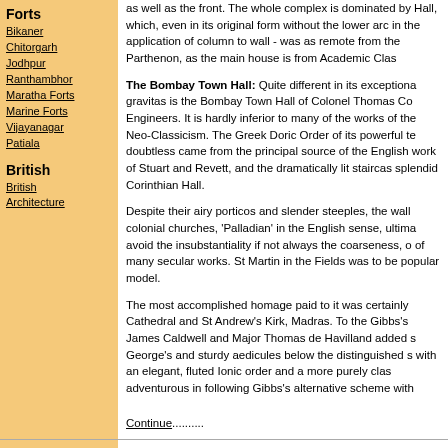Forts
Bikaner
Chitorgarh
Jodhpur
Ranthambhor
Maratha Forts
Marine Forts
Vijayanagar
Patiala
British
British Architecture
as well as the front. The whole complex is dominated by Hall, which, even in its original form without the lower arc in the application of column to wall - was as remote from the Parthenon, as the main house is from Academic Clas
The Bombay Town Hall: Quite different in its exceptiona gravitas is the Bombay Town Hall of Colonel Thomas Co Engineers. It is hardly inferior to many of the works of the Neo-Classicism. The Greek Doric Order of its powerful te doubtless came from the principal source of the English work of Stuart and Revett, and the dramatically lit staircas splendid Corinthian Hall.
Despite their airy porticos and slender steeples, the wall colonial churches, 'Palladian' in the English sense, ultima avoid the insubstantiality if not always the coarseness, o of many secular works. St Martin in the Fields was to be popular model.
The most accomplished homage paid to it was certainly Cathedral and St Andrew's Kirk, Madras. To the Gibbs's James Caldwell and Major Thomas de Havilland added s George's and sturdy aedicules below the distinguished s with an elegant, fluted Ionic order and a more purely clas adventurous in following Gibbs's alternative scheme with
Continue..........